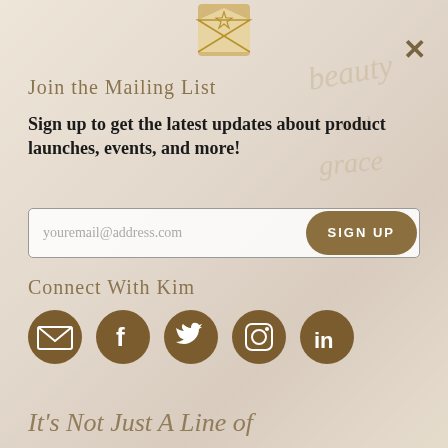[Figure (other): Background photo of a woman in a dark gown, with semi-transparent white overlay and golden/tan color theme]
Join the Mailing List
Sign up to get the latest updates about product launches, events, and more!
youremail@address.com  SIGN UP
Connect With Kim
[Figure (infographic): Five social media icons (email, Facebook, Twitter, Instagram, LinkedIn) as dark golden circles]
It's Not Just A Line of